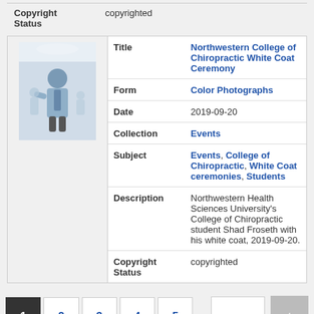| Field | Value |
| --- | --- |
| Copyright Status | copyrighted |
[Figure (photo): Thumbnail photo of a student in a white coat at Northwestern College of Chiropractic White Coat Ceremony]
| Field | Value |
| --- | --- |
| Title | Northwestern College of Chiropractic White Coat Ceremony |
| Form | Color Photographs |
| Date | 2019-09-20 |
| Collection | Events |
| Subject | Events, College of Chiropractic, White Coat ceremonies, Students |
| Description | Northwestern Health Sciences University's College of Chiropractic student Shad Froseth with his white coat, 2019-09-20. |
| Copyright Status | copyrighted |
1 2 3 4 5 ... next ›